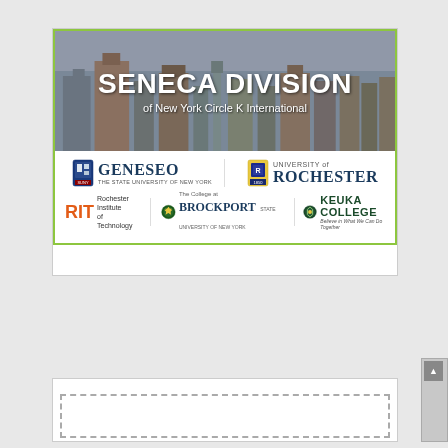[Figure (infographic): Seneca Division of New York Circle K International banner with city skyline background and logos of member schools: Geneseo (SUNY), University of Rochester, Rochester Institute of Technology (RIT), The College at Brockport, and Keuka College. Green border around the composite image.]